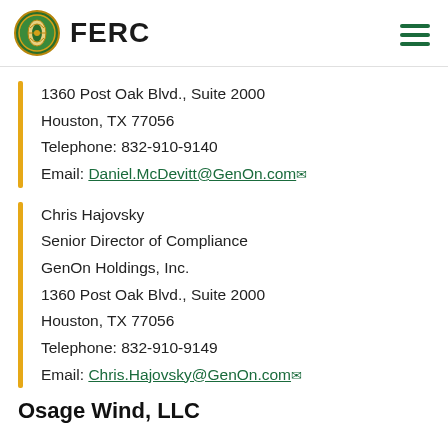FERC
1360 Post Oak Blvd., Suite 2000
Houston, TX 77056
Telephone: 832-910-9140
Email: Daniel.McDevitt@GenOn.com
Chris Hajovsky
Senior Director of Compliance
GenOn Holdings, Inc.
1360 Post Oak Blvd., Suite 2000
Houston, TX 77056
Telephone: 832-910-9149
Email: Chris.Hajovsky@GenOn.com
Osage Wind, LLC